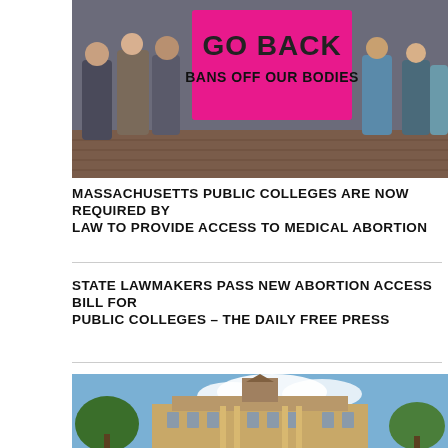[Figure (photo): Protest photo showing people holding a large bright pink sign reading 'GO BACK BANS OFF OUR BODIES']
MASSACHUSETTS PUBLIC COLLEGES ARE NOW REQUIRED BY LAW TO PROVIDE ACCESS TO MEDICAL ABORTION
STATE LAWMAKERS PASS NEW ABORTION ACCESS BILL FOR PUBLIC COLLEGES – THE DAILY FREE PRESS
[Figure (photo): Photo of a large stone university building with a clock tower, columns, and blue sky with clouds in the background]